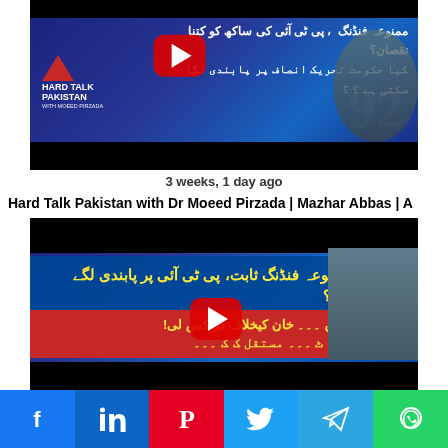[Figure (screenshot): YouTube video thumbnail for Hard Talk Pakistan with Dr Moeed Pirzada, showing Urdu text about PTI funding scandal and ban on Tehreek-e-Insaf, with Hard Talk Pakistan logo and person in suit]
3 weeks, 1 day ago
Hard Talk Pakistan with Dr Moeed Pirzada | Mazhar Abbas | A
[Figure (screenshot): YouTube video thumbnail for Hard Talk Pakistan showing Urdu text about PTI funding ban and federal government action against Imran Khan]
[Figure (infographic): Social media share bar with Facebook, LinkedIn, Pinterest, Twitter, Telegram, and WhatsApp buttons]